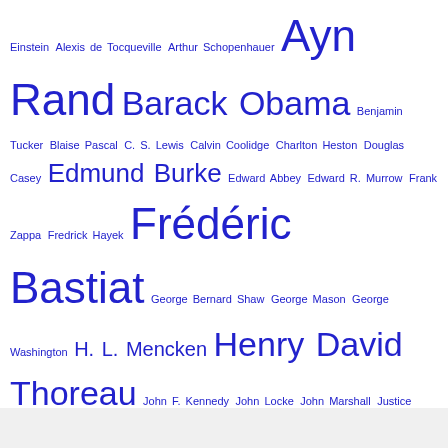[Figure (infographic): A tag cloud of author/philosopher names in varying font sizes (indicating frequency/weight), all in blue. Names include Einstein, Alexis de Tocqueville, Arthur Schopenhauer, Ayn Rand, Barack Obama, Benjamin Tucker, Blaise Pascal, C. S. Lewis, Calvin Coolidge, Charlton Heston, Douglas Casey, Edmund Burke, Edward Abbey, Edward R. Murrow, Frank Zappa, Fredrick Hayek, Frédéric Bastiat, George Bernard Shaw, George Mason, George Washington, H. L. Mencken, Henry David Thoreau, John F. Kennedy, John Locke, John Marshall, Justice Casey Percell, Lao Tsu, Lord Acton, Ludwig Von Mises, Mao Zedong, Mark Twain, Milton Friedman, Montesquieu, orwell, P.J. O'Rourke, Ronald Reagan, Thomas Sowell, William Penn, Winston Churchill.]